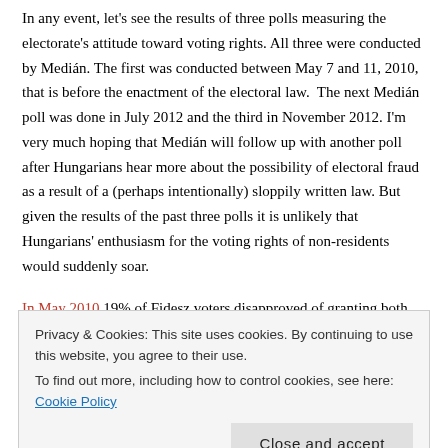In any event, let's see the results of three polls measuring the electorate's attitude toward voting rights. All three were conducted by Medián. The first was conducted between May 7 and 11, 2010, that is before the enactment of the electoral law.  The next Medián poll was done in July 2012 and the third in November 2012. I'm very much hoping that Medián will follow up with another poll after Hungarians hear more about the possibility of electoral fraud as a result of a (perhaps intentionally) sloppily written law. But given the results of the past three polls it is unlikely that Hungarians' enthusiasm for the voting rights of non-residents would suddenly soar.
In May 2010 19% of Fidesz voters disapproved of granting both citizenship and voting rights to Hungarians in the neighboring countries and only 30% approved of both. The rest, 46%, supported
Privacy & Cookies: This site uses cookies. By continuing to use this website, you agree to their use. To find out more, including how to control cookies, see here: Cookie Policy
Close and accept
35% of them were happy with Fidesz's plan. Those without party